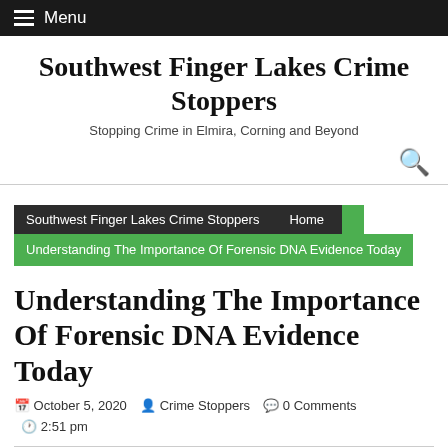Menu
Southwest Finger Lakes Crime Stoppers
Stopping Crime in Elmira, Corning and Beyond
Southwest Finger Lakes Crime Stoppers | Home | Understanding The Importance Of Forensic DNA Evidence Today
Understanding The Importance Of Forensic DNA Evidence Today
October 5, 2020  Crime Stoppers  0 Comments  2:51 pm